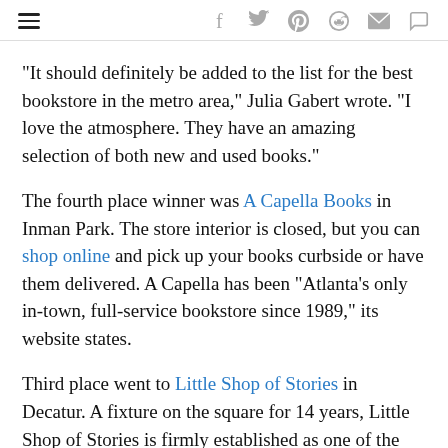[hamburger menu] [social icons: f, twitter, pinterest, reddit, mail, comment]
“It should definitely be added to the list for the best bookstore in the metro area,” Julia Gabert wrote. “I love the atmosphere. They have an amazing selection of both new and used books.”
The fourth place winner was A Capella Books in Inman Park. The store interior is closed, but you can shop online and pick up your books curbside or have them delivered. A Capella has been “Atlanta’s only in-town, full-service bookstore since 1989,” its website states.
Third place went to Little Shop of Stories in Decatur. A fixture on the square for 14 years, Little Shop of Stories is firmly established as one of the